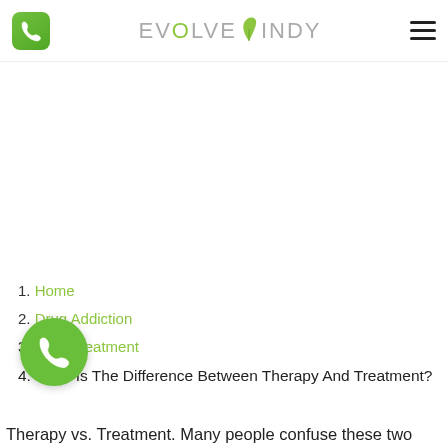EVOLVE INDY
1. Home
2. Drug Addiction
3. Drug Treatment
4. What Is The Difference Between Therapy And Treatment?
Therapy vs. Treatment. Many people confuse these two